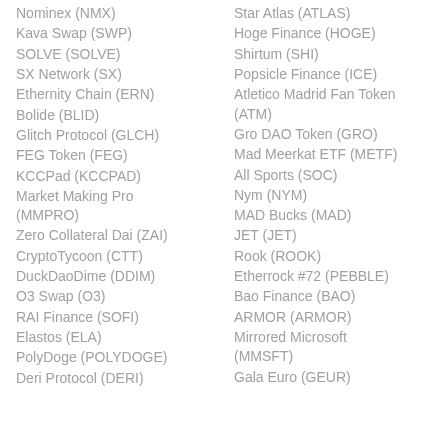Nominex (NMX)
Kava Swap (SWP)
SOLVE (SOLVE)
SX Network (SX)
Ethernity Chain (ERN)
Bolide (BLID)
Glitch Protocol (GLCH)
FEG Token (FEG)
KCCPad (KCCPAD)
Market Making Pro (MMPRO)
Zero Collateral Dai (ZAI)
CryptoTycoon (CTT)
DuckDaoDime (DDIM)
O3 Swap (O3)
RAI Finance (SOFI)
Elastos (ELA)
PolyDoge (POLYDOGE)
Deri Protocol (DERI)
Star Atlas (ATLAS)
Hoge Finance (HOGE)
Shirtum (SHI)
Popsicle Finance (ICE)
Atletico Madrid Fan Token (ATM)
Gro DAO Token (GRO)
Mad Meerkat ETF (METF)
All Sports (SOC)
Nym (NYM)
MAD Bucks (MAD)
JET (JET)
Rook (ROOK)
Etherrock #72 (PEBBLE)
Bao Finance (BAO)
ARMOR (ARMOR)
Mirrored Microsoft (MMSFT)
Gala Euro (GEUR)